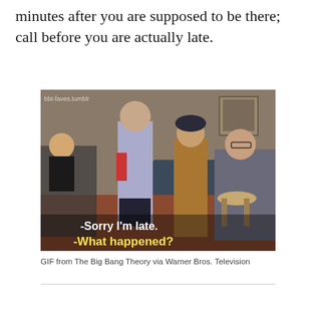minutes after you are supposed to be there; call before you are actually late.
[Figure (photo): Screenshot from The Big Bang Theory TV show showing characters in an apartment. Sheldon stands facing other characters. Subtitles read: '-Sorry I'm late. -What happened?' with a watermark 'bbt-faves.tumblr' in the top-left corner.]
GIF from The Big Bang Theory via Warner Bros. Television